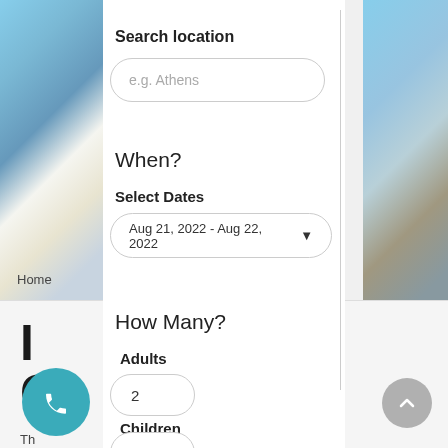Search location
e.g. Athens
When?
Select Dates
Aug 21, 2022 - Aug 22, 2022
How Many?
Adults
2
Children
0
Home
[Figure (screenshot): Travel booking search form UI with location search, date picker, and guest count selector overlaid on a Santorini background photo]